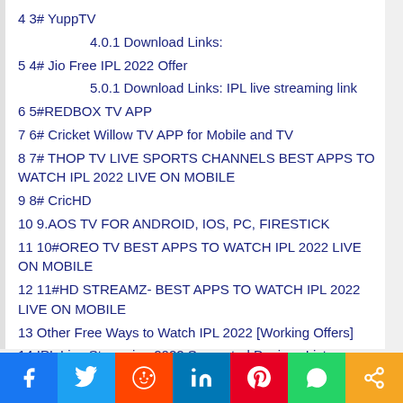4 3# YuppTV
4.0.1 Download Links:
5 4# Jio Free IPL 2022 Offer
5.0.1 Download Links: IPL live streaming link
6 5#REDBOX TV APP
7 6# Cricket Willow TV APP for Mobile and TV
8 7# THOP TV LIVE SPORTS CHANNELS BEST APPS TO WATCH IPL 2022 LIVE ON MOBILE
9 8# CricHD
10 9.AOS TV FOR ANDROID, IOS, PC, FIRESTICK
11 10#OREO TV BEST APPS TO WATCH IPL 2022 LIVE ON MOBILE
12 11#HD STREAMZ- BEST APPS TO WATCH IPL 2022 LIVE ON MOBILE
13 Other Free Ways to Watch IPL 2022 [Working Offers]
14 IPL Live Streaming 2022 Supported Devices List
15 FAQ About IPL Apps, Tv, Broadcast(free apps to watch IPL 2022 live on mobile and tv)